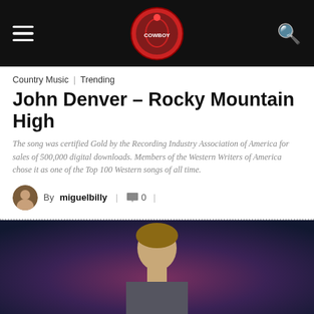Navigation bar with hamburger menu, site logo, and search icon
Country Music | Trending
John Denver – Rocky Mountain High
The song was certified Gold by the Recording Industry Association of America for sales of 500,000 digital downloads. Members of the Western Writers of America chose it as one of the Top 100 Western songs of all time.
By miguelbilly | 0
[Figure (photo): Photo of John Denver performing on stage, with blue and dark purple background lighting]